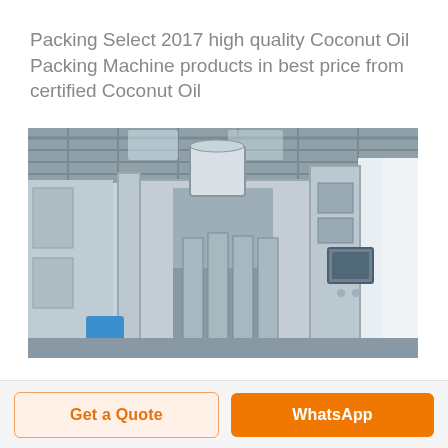Packing Select 2017 high quality Coconut Oil Packing Machine products in best price from certified Coconut Oil
[Figure (photo): Industrial coconut oil filling and packing machine line in a factory setting. Large stainless steel machinery with cylindrical components, conveyor frames, a blue plastic stool on the floor, and a control panel screen on the right side. The factory has a steel-truss ceiling with skylights.]
Get a Quote
WhatsApp